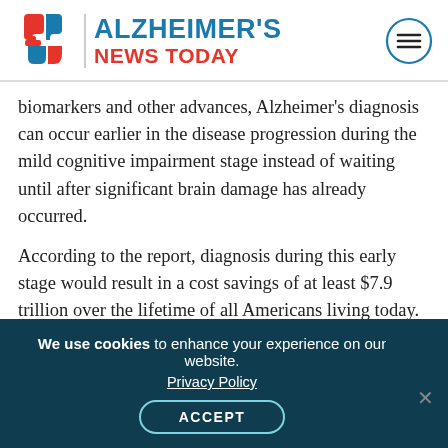Alzheimer's News Today
biomarkers and other advances, Alzheimer's diagnosis can occur earlier in the disease progression during the mild cognitive impairment stage instead of waiting until after significant brain damage has already occurred.
According to the report, diagnosis during this early stage would result in a cost savings of at least $7.9 trillion over the lifetime of all Americans living today.
Earlier diagnosis is also associated with individual savings. In today's context, in which diagnosis
We use cookies to enhance your experience on our website. Privacy Policy ACCEPT